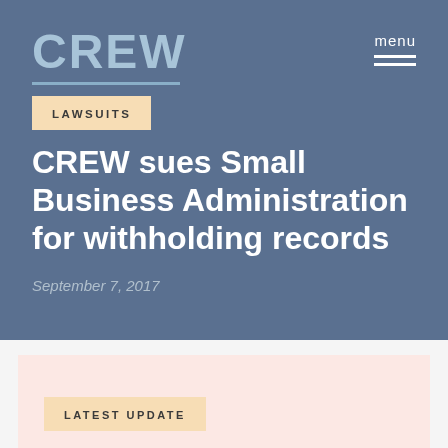[Figure (logo): CREW organization logo in light blue/steel text with underline]
menu
LAWSUITS
CREW sues Small Business Administration for withholding records
September 7, 2017
LATEST UPDATE